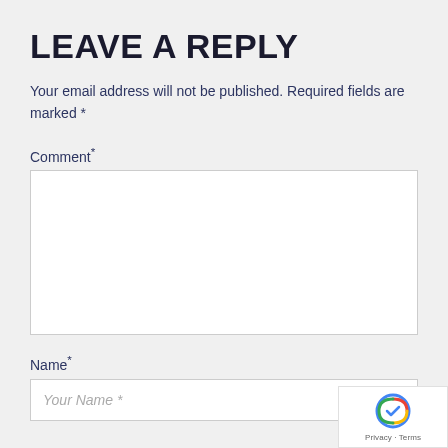LEAVE A REPLY
Your email address will not be published. Required fields are marked *
Comment*
Name*
Your Name *